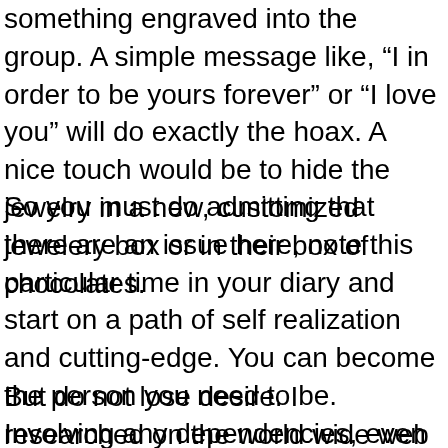something engraved into the group. A simple message like, “I in order to be yours forever” or “I love you” will do exactly the hoax. A nice touch would be to hide the jewelry in a new, customized jewelery box or in their box of chocolates.
So you must do admitting that there are an issue here, note this particular time in your diary and start on a path of self realization and cutting-edge. You can become the person you need to be. Involving any dependencies, even though chocolate doesn’t seem like anything to be able to ashamed in.
But do not lose desire. I researched on the world wide web about healthy chocolates and alas! I ran across out presently there are actually many chocolate products found in the market that are